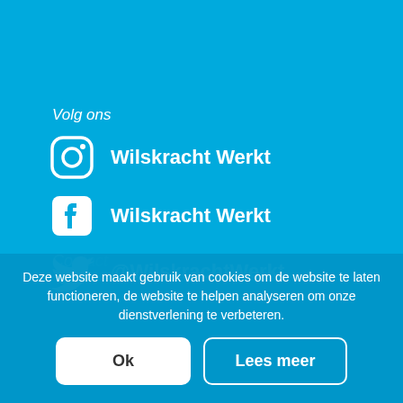Volg ons
Wilskracht Werkt (Instagram)
Wilskracht Werkt (Facebook)
@WilskrachtWerkt (Twitter)
Deze website maakt gebruik van cookies om de website te laten functioneren, de website te helpen analyseren om onze dienstverlening te verbeteren.
Ok
Lees meer